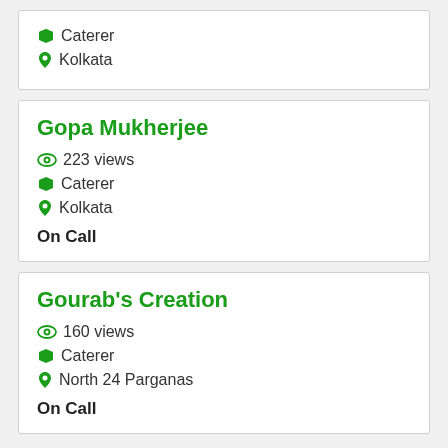Caterer
Kolkata
Gopa Mukherjee
223 views
Caterer
Kolkata
On Call
Gourab's Creation
160 views
Caterer
North 24 Parganas
On Call